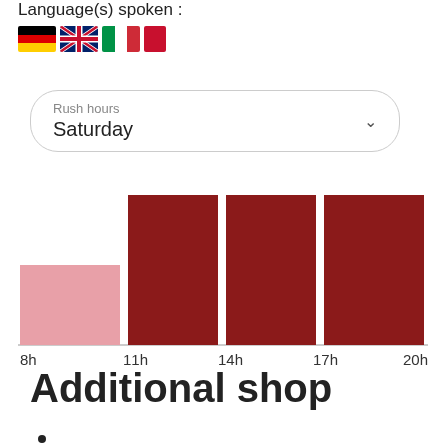Language(s) spoken :
[Figure (illustration): Four country flags: Germany, UK, Italy, and another flag]
Rush hours
Saturday
[Figure (bar-chart): Rush hours Saturday]
Additional shop
•